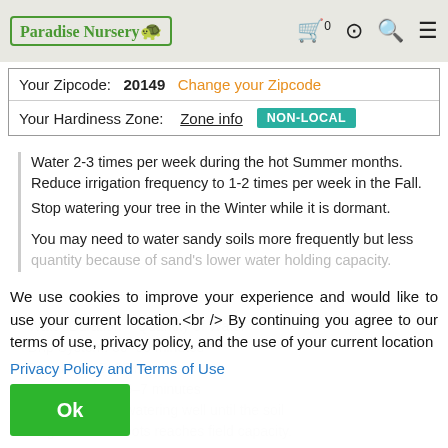Paradise Nursery | Cart 0 | Account | Search | Menu
| Field | Value |
| --- | --- |
| Your Zipcode: | 20149   Change your Zipcode |
| Your Hardiness Zone: | Zone info   NON-LOCAL |
Water 2-3 times per week during the hot Summer months. Reduce irrigation frequency to 1-2 times per week in the Fall.
Stop watering your tree in the Winter while it is dormant.

You may need to water sandy soils more frequently but less quantity because of sand's lower water holding capacity.
We use cookies to improve your experience and would like to use your current location.<br /> By continuing you agree to our terms of use, privacy policy, and the use of your current location
Privacy Policy and Terms of Use
Ok